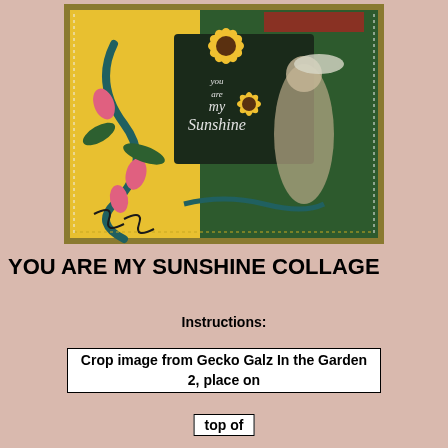[Figure (illustration): A colorful mixed-media collage artwork titled 'You Are My Sunshine' featuring sunflowers, floral elements, teal ribbon swirls, a vintage Victorian-style woman with umbrella, pink tulip-like flowers, yellow background with decorative border.]
YOU ARE MY SUNSHINE COLLAGE
Instructions:
Crop image from Gecko Galz In the Garden 2, place on
top of